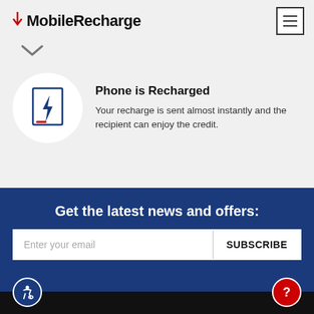[Figure (logo): MobileRecharge logo with red arrow/download icon and bold text]
[Figure (other): Hamburger menu icon (three horizontal lines in a square border)]
[Figure (other): Chevron/down arrow icon for navigation]
[Figure (illustration): White circle with a phone/charging icon inside (lightning bolt on a document, red accent line at bottom)]
Phone is Recharged
Your recharge is sent almost instantly and the recipient can enjoy the credit.
Get the latest news and offers:
Enter your email
SUBSCRIBE